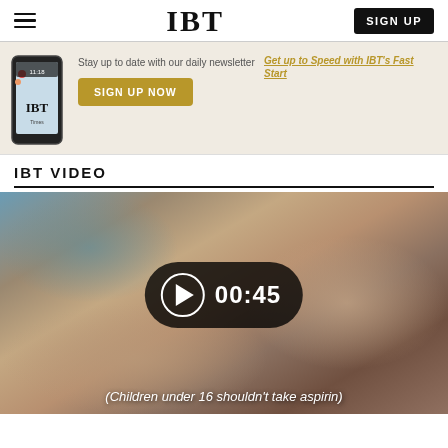IBT  SIGN UP
[Figure (screenshot): IBT newsletter signup banner with phone mockup and gold 'SIGN UP NOW' button. Text: 'Stay up to date with our daily newsletter' and 'Get up to Speed with IBT's Fast Start']
IBT VIDEO
[Figure (screenshot): Video thumbnail showing a child/baby with aspirin tablets. Play button overlay showing 00:45 duration. Caption: '(Children under 16 shouldn't take aspirin)']